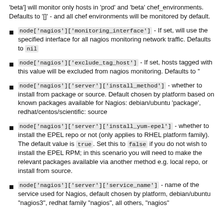'beta'] will monitor only hosts in 'prod' and 'beta' chef_environments. Defaults to '[]' - and all chef environments will be monitored by default.
node['nagios']['monitoring_interface'] - If set, will use the specified interface for all nagios monitoring network traffic. Defaults to nil
node['nagios']['exclude_tag_host'] - If set, hosts tagged with this value will be excluded from nagios monitoring. Defaults to ''
node['nagios']['server']['install_method'] - whether to install from package or source. Default chosen by platform based on known packages available for Nagios: debian/ubuntu 'package', redhat/centos/scientific: source
node['nagios']['server']['install_yum-epel'] - whether to install the EPEL repo or not (only applies to RHEL platform family). The default value is true. Set this to false if you do not wish to install the EPEL RPM; in this scenario you will need to make the relevant packages available via another method e.g. local repo, or install from source.
node['nagios']['server']['service_name'] - name of the service used for Nagios, default chosen by platform, debian/ubuntu "nagios3", redhat family "nagios", all others, "nagios"